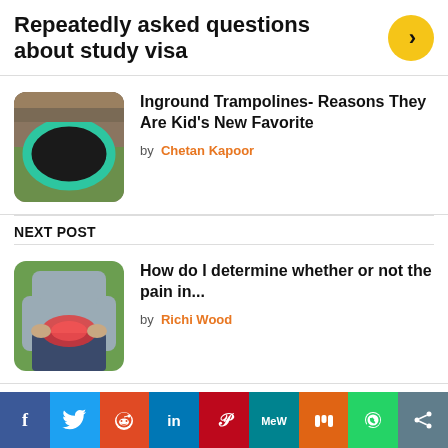Repeatedly asked questions about study visa
[Figure (photo): Inground trampoline with green rim in grassy area]
Inground Trampolines- Reasons They Are Kid's New Favorite
by Chetan Kapoor
NEXT POST
[Figure (photo): Person holding lower back in pain, red highlight on affected area]
How do I determine whether or not the pain in...
by Richi Wood
f  Twitter  Reddit  in  Pinterest  MW  Mix  WhatsApp  Share